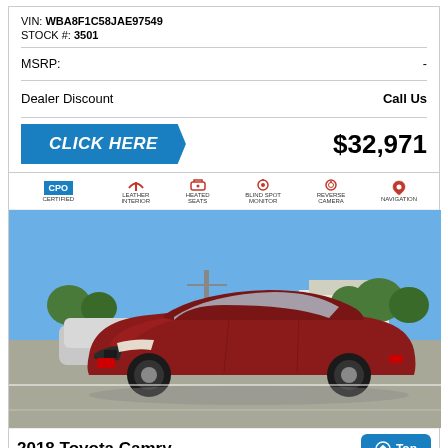VIN: WBA8F1C58JAE97549
STOCK #: 3501
MSRP: -
Dealer Discount | Call Us
CLICK HERE | $32,971
[Figure (photo): 2018 Toyota Camry red sedan in a parking lot, with CPO Certified, Leather Interior, Heated Seats, Blind Spot Monitor, Reverse Camera, Navigation icons at top]
2018 Toyota Camry